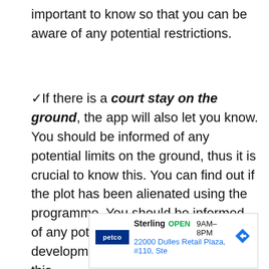important to know so that you can be aware of any potential restrictions.
✓If there is a court stay on the ground, the app will also let you know. You should be informed of any potential limits on the ground, thus it is crucial to know this. You can find out if the plot has been alienated using the programme. You should be informed of any potential limits on the development, thus it is crucial to know this.
[Figure (other): Advertisement for Petco Sterling store showing logo, OPEN status, hours 9AM-8PM, and address 22000 Dulles Retail Plaza, #110, Ste with navigation arrow icon]